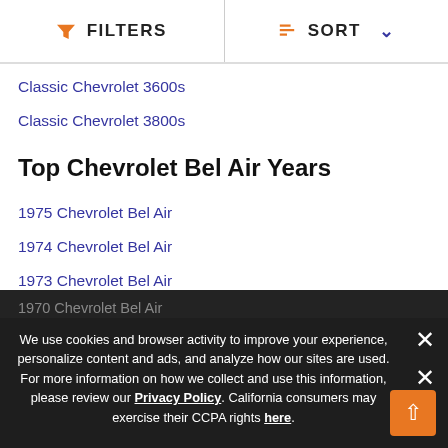FILTERS | SORT
Classic Chevrolet 3600s
Classic Chevrolet 3800s
Top Chevrolet Bel Air Years
1975 Chevrolet Bel Air
1974 Chevrolet Bel Air
1973 Chevrolet Bel Air
1972 Chevrolet Bel Air
1971 Chevrolet Bel Air
1970 Chevrolet Bel Air
We use cookies and browser activity to improve your experience, personalize content and ads, and analyze how our sites are used. For more information on how we collect and use this information, please review our Privacy Policy. California consumers may exercise their CCPA rights here.